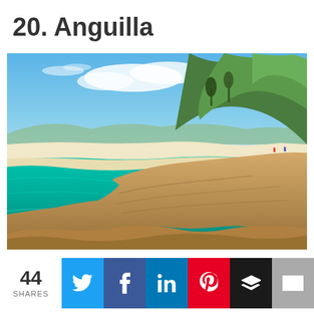20. Anguilla
[Figure (photo): Tropical beach scene in Anguilla with turquoise water, white sand beach, rocky outcroppings in the foreground, lush green vegetation on a hillside, and blue sky with white clouds.]
44 SHARES
[Figure (infographic): Social share bar with Twitter (blue bird icon), Facebook (blue f icon), LinkedIn (blue in icon), Pinterest (red P icon), Buffer (black layers icon), and Email (gray envelope icon) buttons.]